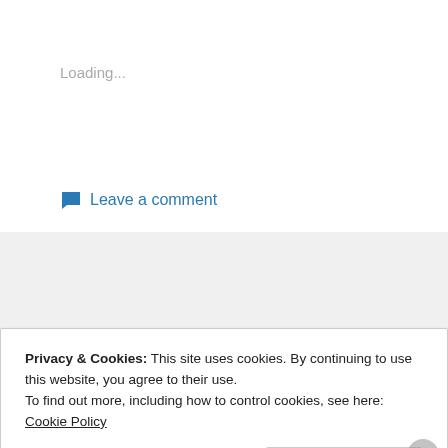Loading...
Leave a comment
SUBSCRIPTION IT
Privacy & Cookies: This site uses cookies. By continuing to use this website, you agree to their use.
To find out more, including how to control cookies, see here: Cookie Policy
Close and accept